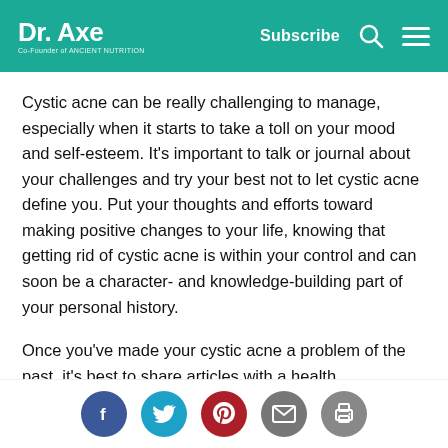Dr. Axe — Co-Founder of Ancient Nutrition | Subscribe
Cystic acne can be really challenging to manage, especially when it starts to take a toll on your mood and self-esteem. It's important to talk or journal about your challenges and try your best not to let cystic acne define you. Put your thoughts and efforts toward making positive changes to your life, knowing that getting rid of cystic acne is within your control and can soon be a character- and knowledge-building part of your personal history.
Once you've made your cystic acne a problem of the past, it's best to share articles with a health…
[Figure (infographic): Social sharing icons: Facebook (blue circle), Twitter (teal circle), Pinterest (red circle), Email (grey circle), Print (grey circle)]